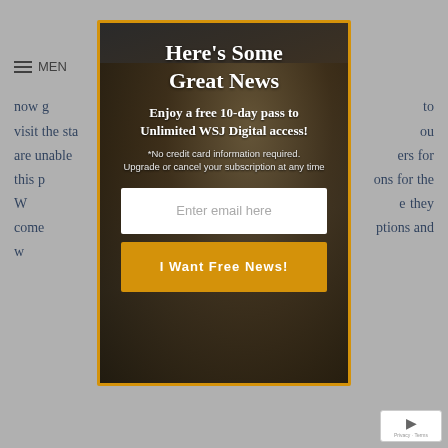now g... via the comp... to visit the sta... is ideal on da... ou are unable... speak about... ers for this p... ch the marke... ons for the W... It is benefi... e they come... e cash. One ca... ptions and w... quick p...
[Figure (screenshot): WSJ Digital access popup modal with dark background photo of a man reading a newspaper, yellow border. Contains headline 'Here's Some Great News', subtitle 'Enjoy a free 10-day pass to Unlimited WSJ Digital access!', fine print '*No credit card information required. Upgrade or cancel your subscription at any time', email input field placeholder 'Enter email here', and gold CTA button 'I Want Free News!']